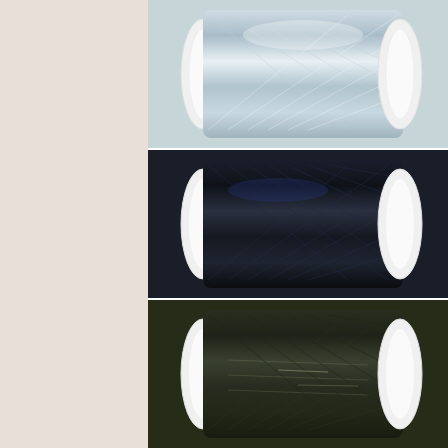[Figure (photo): Three spools of metallic/shiny thread arranged vertically on the right side of the page against a light beige background on the left. Top spool: silver/steel blue metallic thread. Middle spool: dark navy/black metallic thread. Bottom spool: dark olive/forest green metallic thread. Each spool has a white cylindrical core.]